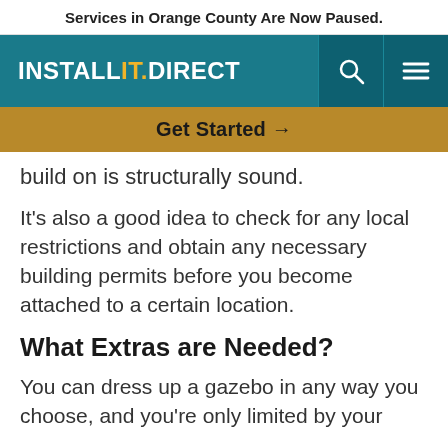Services in Orange County Are Now Paused.
[Figure (logo): InstallItDirect logo in white text on teal background, with search and menu icons on the right]
Get Started →
build on is structurally sound.
It's also a good idea to check for any local restrictions and obtain any necessary building permits before you become attached to a certain location.
What Extras are Needed?
You can dress up a gazebo in any way you choose, and you're only limited by your